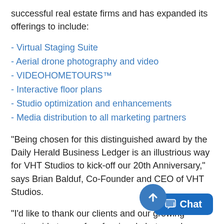successful real estate firms and has expanded its offerings to include:
- Virtual Staging Suite
- Aerial drone photography and video
- VIDEOHOMETOURS™
- Interactive floor plans
- Studio optimization and enhancements
- Media distribution to all marketing partners
“Being chosen for this distinguished award by the Daily Herald Business Ledger is an illustrious way for VHT Studios to kick-off our 20th Anniversary,” says Brian Balduf, Co-Founder and CEO of VHT Studios.
“I’d like to thank our clients and our growing nationwide team of professional photographers and image specialists, who have helped us build VHT Studios into what it is today. O